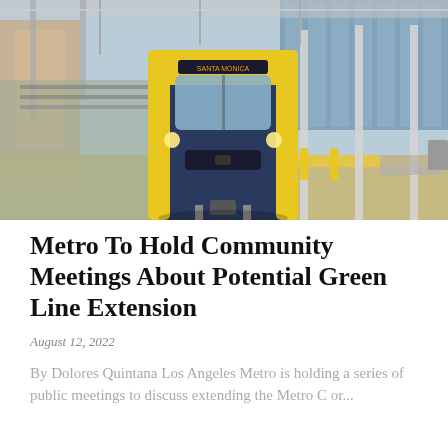[Figure (photo): A yellow and dark blue Metro light rail train arriving at a station platform. The platform has yellow tactile strips and gray concrete, with tall steel poles and overhead structures visible. Urban buildings and bright sky in the background.]
Metro To Hold Community Meetings About Potential Green Line Extension
August 12, 2022
By Dolores Quintana Los Angeles Metro is holding a series of public meetings to discuss extending the Metro C or...